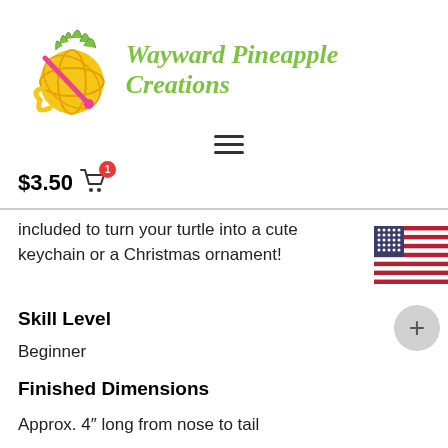[Figure (logo): Wayward Pineapple Creations logo featuring a yarn ball with crochet hook and pineapple leaves, next to the brand name in green italic text]
$3.50 🛒 (cart with badge showing 1)
included to turn your turtle into a cute keychain or a Christmas ornament!
Skill Level
Beginner
Finished Dimensions
Approx. 4" long from nose to tail